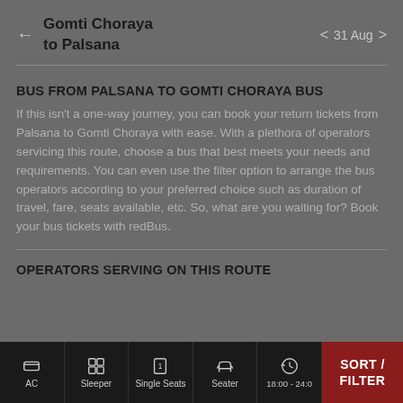Gomti Choraya to Palsana — 31 Aug
BUS FROM PALSANA TO GOMTI CHORAYA BUS
If this isn't a one-way journey, you can book your return tickets from Palsana to Gomti Choraya with ease. With a plethora of operators servicing this route, choose a bus that best meets your needs and requirements. You can even use the filter option to arrange the bus operators according to your preferred choice such as duration of travel, fare, seats available, etc. So, what are you waiting for? Book your bus tickets with redBus.
OPERATORS SERVING ON THIS ROUTE
AC | Sleeper | Single Seats | Seater | 18:00 - 24:0 | SORT / FILTER